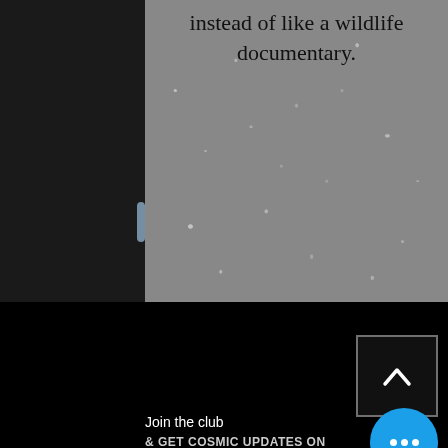[Figure (screenshot): Blurry grey starfield/space image background with white specks, dark left strip with faint blue glow]
instead of like a wildlife documentary.
[Figure (other): Dark black footer section with an upward arrow button (chevron icon) in a bordered square on the right side]
Join the club
& GET COSMIC UPDATES ON SPECIAL CELECTIAL EVENTS
[Figure (other): Blue circular button with three white dots (ellipsis/more options icon)]